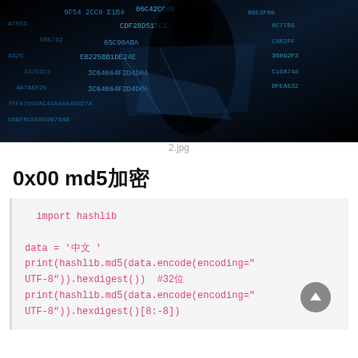[Figure (photo): Dark cybersecurity image showing a silhouette of a person with glowing blue hexadecimal code strings overlaid]
2.jpg
0x00 md5加密
import hashlib

data = '中文 '
print(hashlib.md5(data.encode(encoding="UTF-8")).hexdigest())  #32位
print(hashlib.md5(data.encode(encoding="UTF-8")).hexdigest()[8:-8])